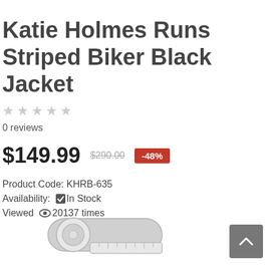Katie Holmes Runs Striped Biker Black Jacket
★★★★★
0 reviews
$149.99  $290.00  -48%
Product Code: KHRB-635
Availability: ✅In Stock
Viewed 👁20137 times
[Figure (illustration): Tape measure icon in light gray]